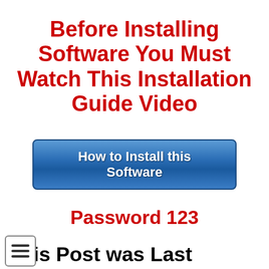Before Installing Software You Must Watch This Installation Guide Video
[Figure (other): Blue rounded button with white bold text reading 'How to Install this Software']
Password 123
This Post was Last Updated On: April 18, 2021